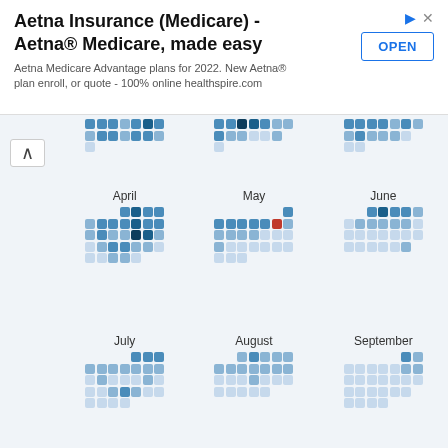[Figure (screenshot): Aetna Insurance Medicare advertisement banner with title, body text, and OPEN button]
[Figure (infographic): Year calendar heatmap showing months April through December with colored squares representing activity levels. May has a red highlighted square. Layout is 3-column grid with month names and colored tile grids.]